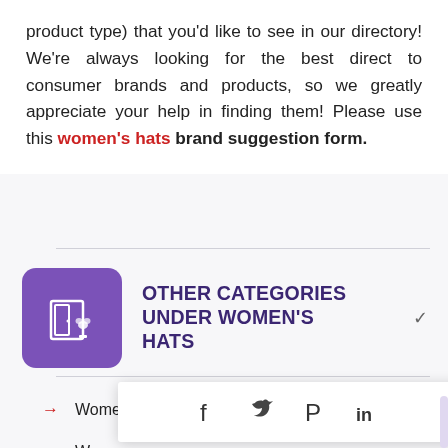product type) that you'd like to see in our directory! We're always looking for the best direct to consumer brands and products, so we greatly appreciate your help in finding them! Please use this women's hats brand suggestion form.
OTHER CATEGORIES UNDER WOMEN'S HATS
→ Women's Balaclavas (0)
→ Women
→ Women
[Figure (infographic): Social share popup overlay showing icons for Facebook, Twitter, Pinterest, and LinkedIn]